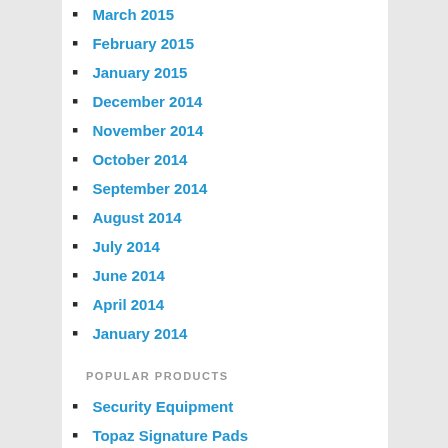March 2015
February 2015
January 2015
December 2014
November 2014
October 2014
September 2014
August 2014
July 2014
June 2014
April 2014
January 2014
POPULAR PRODUCTS
Security Equipment
Topaz Signature Pads
Elo Touch Monitors
Security Dome Cameras
Sony Security Cameras
PC America POS Software
Aldelo Restaurant POS